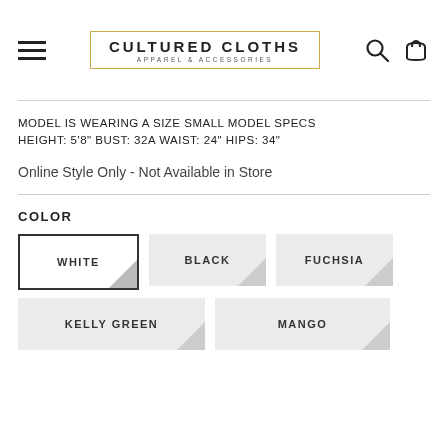CULTURED CLOTHS APPAREL & ACCESSORIES
MODEL IS WEARING A SIZE SMALL MODEL SPECS HEIGHT: 5'8" BUST: 32A WAIST: 24" HIPS: 34"
Online Style Only - Not Available in Store
COLOR
WHITE
BLACK
FUCHSIA
KELLY GREEN
MANGO